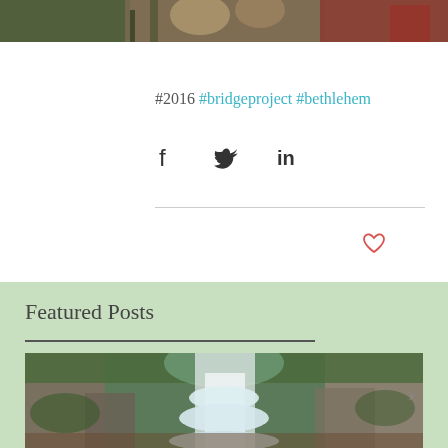[Figure (photo): Top portion of a photo showing people, partially cropped]
#2016 #bridgeproject #bethlehem
[Figure (infographic): Social sharing icons: Facebook, Twitter, LinkedIn]
[Figure (infographic): Heart/like icon (outlined, red/salmon color)]
Featured Posts
[Figure (photo): Waterfall cascading over rocky cliffs with green foliage]